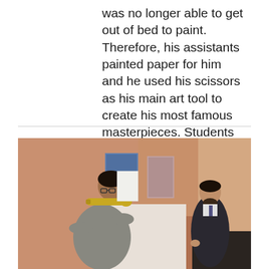was no longer able to get out of bed to paint. Therefore, his assistants painted paper for him and he used his scissors as his main art tool to create his most famous masterpieces. Students were able to learn this technique and how you can cut shapes and designs to crea
[Figure (photo): A student playing a trumpet indoors while a bearded man in a suit stands in the background. Artwork is visible on the wall behind.]